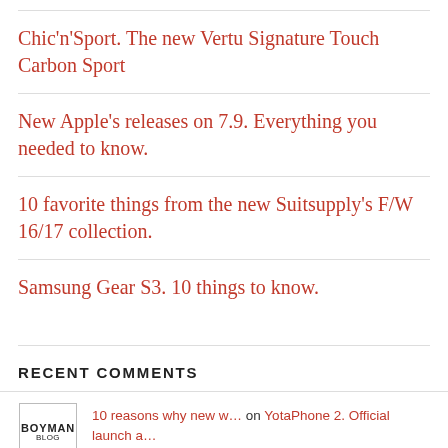Chic'n'Sport. The new Vertu Signature Touch Carbon Sport
New Apple's releases on 7.9. Everything you needed to know.
10 favorite things from the new Suitsupply's F/W 16/17 collection.
Samsung Gear S3. 10 things to know.
RECENT COMMENTS
10 reasons why new w… on YotaPhone 2. Official launch a…
C H on WHAT IF… Nespresso collaborate…